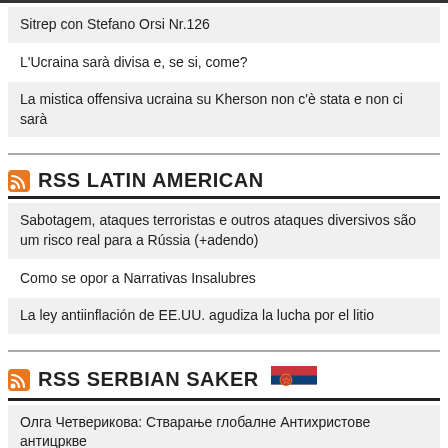Sitrep con Stefano Orsi Nr.126
L'Ucraina sarà divisa e, se si, come?
La mistica offensiva ucraina su Kherson non c'è stata e non ci sarà
RSS LATIN AMERICAN
Sabotagem, ataques terroristas e outros ataques diversivos são um risco real para a Rússia (+adendo)
Como se opor a Narrativas Insalubres
La ley antiinflación de EE.UU. agudiza la lucha por el litio
RSS SERBIAN SAKER
Олга Четверикова: Стварање глобалне Антихристове антицркве
др Андреј Митић: Орбанови говори прећутани у Србији: